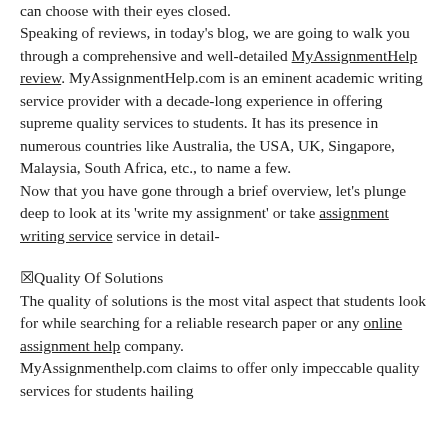can choose with their eyes closed. Speaking of reviews, in today's blog, we are going to walk you through a comprehensive and well-detailed MyAssignmentHelp review. MyAssignmentHelp.com is an eminent academic writing service provider with a decade-long experience in offering supreme quality services to students. It has its presence in numerous countries like Australia, the USA, UK, Singapore, Malaysia, South Africa, etc., to name a few. Now that you have gone through a brief overview, let's plunge deep to look at its 'write my assignment' or take assignment writing service service in detail-
🔲Quality Of Solutions
The quality of solutions is the most vital aspect that students look for while searching for a reliable research paper or any online assignment help company. MyAssignmenthelp.com claims to offer only impeccable quality services for students hailing